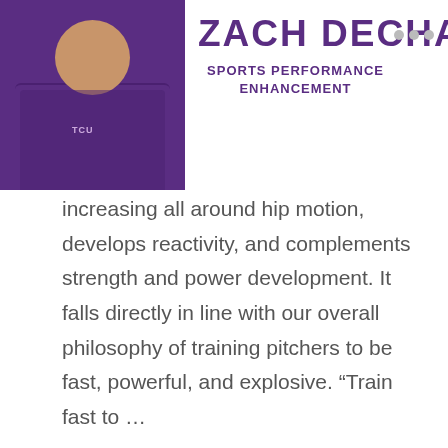[Figure (photo): Profile photo of Zach Dechant in purple TCU athletic shirt with name and title header]
ZACH DECHANT
SPORTS PERFORMANCE ENHANCEMENT
increasing all around hip motion, develops reactivity, and complements strength and power development. It falls directly in line with our overall philosophy of training pitchers to be fast, powerful, and explosive. “Train fast to …